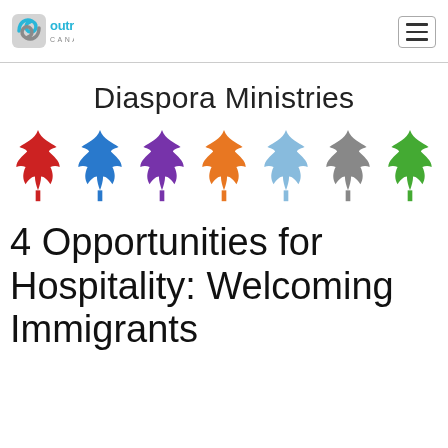Outreach Canada
Diaspora Ministries
[Figure (illustration): Seven colorful maple leaves in a row: red, blue, purple, orange, light blue, gray, green]
4 Opportunities for Hospitality: Welcoming Immigrants